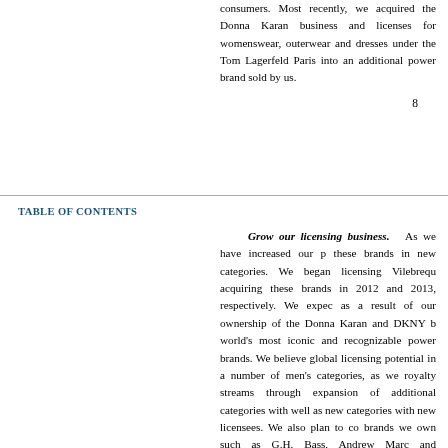consumers. Most recently, we acquired the Donna Karan business and licenses for womenswear, outerwear and dresses under the Tommy Hilfiger and Lagerfeld Paris into an additional power brand sold by us.
8
TABLE OF CONTENTS
Grow our licensing business. As we have increased our portfolio, we have leveraged these brands in new categories. We began licensing Vilebrequin and Karl Lagerfeld after acquiring these brands in 2012 and 2013, respectively. We expect significant licensing revenues as a result of our ownership of the Donna Karan and DKNY brands, which are among the world's most iconic and recognizable power brands. We believe that there is significant untapped global licensing potential in a number of men's categories, as well as opportunities to grow royalty streams through expansion of additional categories with existing licensees for our brands as well as new categories with new licensees. We also plan to continue growing licensing of brands we own such as G.H. Bass, Andrew Marc and Vilebrequin.
Add new product categories. We have been able to leverage our apparel design and sales business, our relationships with our licensors and our sourcing capabilities to expand into new categories such as dresses, sportswear, women's suits, women's suits, women's outerwear and women's swimwear. We expanded our licenses with Calvin Klein and Tommy Hilfiger to include handbags, small leather goods, cold weather accessories and footwear. We also sell swimwear products we sell under the Tommy Hilfiger brand and added swimwear to our portfolio as a result of our acquisition of Vilebrequin. Our acquisition of G.H.